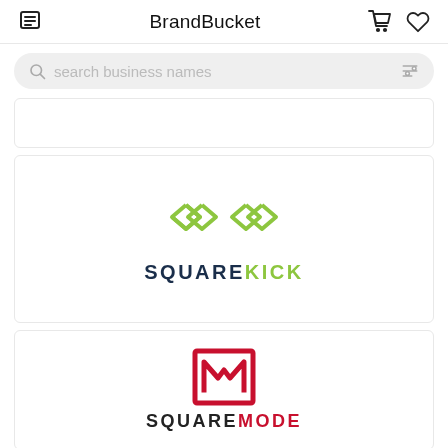BrandBucket
search business names
[Figure (logo): Empty card placeholder at top]
[Figure (logo): SquareKick logo: green geometric double-diamond icon above text SQUAREKICK in dark navy and green]
[Figure (logo): SquareMode logo: red square bracket icon with M and N letters above text SQUAREMODE in dark and red]